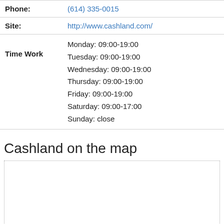| Phone: | (614) 335-0015 |
| Site: | http://www.cashland.com/ |
| Time Work | Monday: 09:00-19:00
Tuesday: 09:00-19:00
Wednesday: 09:00-19:00
Thursday: 09:00-19:00
Friday: 09:00-19:00
Saturday: 09:00-17:00
Sunday: close |
Cashland on the map
[Figure (map): Empty map placeholder with dotted border]